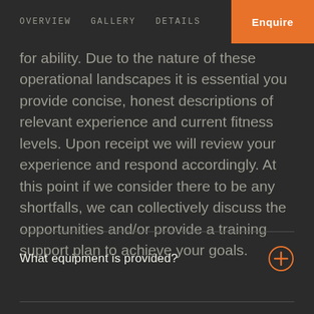OVERVIEW   GALLERY   DETAILS   Enquire
for ability. Due to the nature of these operational landscapes it is essential you provide concise, honest descriptions of relevant experience and current fitness levels. Upon receipt we will review your experience and respond accordingly. At this point if we consider there to be any shortfalls, we can collectively discuss the opportunities and/or provide a training support plan to achieve your goals.
What equipment is provided?